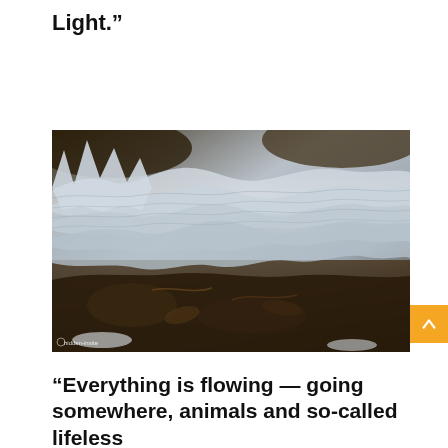Light.”
[Figure (photo): Close-up photograph of flowing ice formations over dark organic matter and leaves, creating wave-like layered patterns in blue-grey tones. Watermark reads 'hidden-insite'.]
“Everything is flowing — going somewhere, animals and so-called lifeless